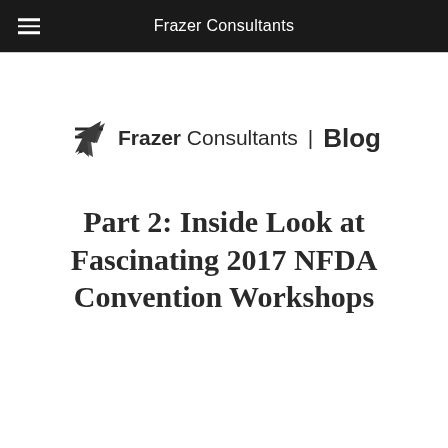Frazer Consultants
[Figure (logo): Frazer Consultants Blog logo with arrow/chevron icon]
Part 2: Inside Look at Fascinating 2017 NFDA Convention Workshops